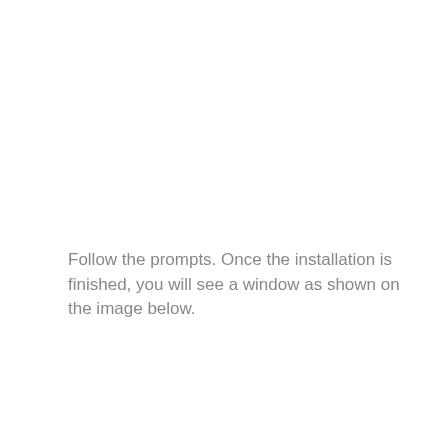Follow the prompts. Once the installation is finished, you will see a window as shown on the image below.